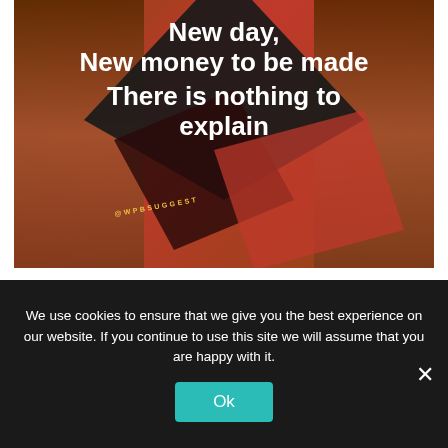[Figure (photo): Social media motivational graphic with text overlay on dark diamond shapes against a red/maroon background with two people's faces on the sides. Text reads: 'New day, New money to be made There is nothing to explain' with '@WPBSUGGEST' watermark.]
“It’s too much money out here, and
We use cookies to ensure that we give you the best experience on our website. If you continue to use this site we will assume that you are happy with it.